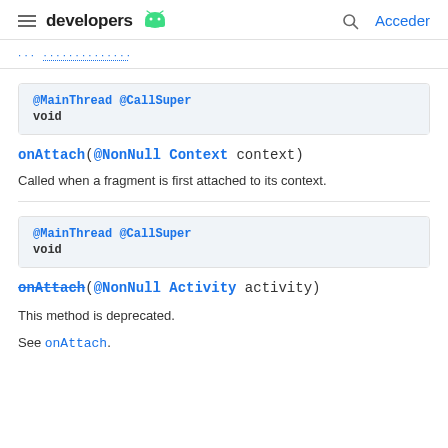developers [android logo] | Acceder
[breadcrumb link partial]
@MainThread @CallSuper
void
onAttach(@NonNull Context context)
Called when a fragment is first attached to its context.
@MainThread @CallSuper
void
onAttach(@NonNull Activity activity)
This method is deprecated.
See onAttach.